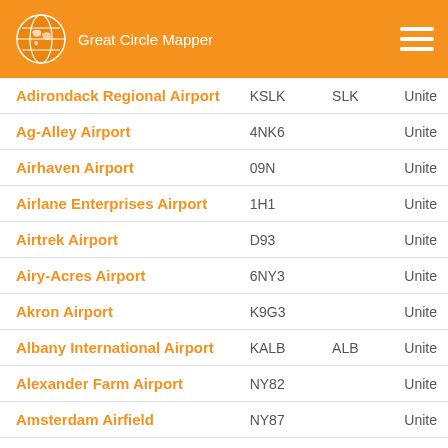Great Circle Mapper
| Airport Name | ICAO | IATA | Country |
| --- | --- | --- | --- |
| Adirondack Regional Airport | KSLK | SLK | Unite |
| Ag-Alley Airport | 4NK6 |  | Unite |
| Airhaven Airport | 09N |  | Unite |
| Airlane Enterprises Airport | 1H1 |  | Unite |
| Airtrek Airport | D93 |  | Unite |
| Airy-Acres Airport | 6NY3 |  | Unite |
| Akron Airport | K9G3 |  | Unite |
| Albany International Airport | KALB | ALB | Unite |
| Alexander Farm Airport | NY82 |  | Unite |
| Amsterdam Airfield | NY87 |  | Unite |
| Anthonson Airport | NY28 |  | Unite |